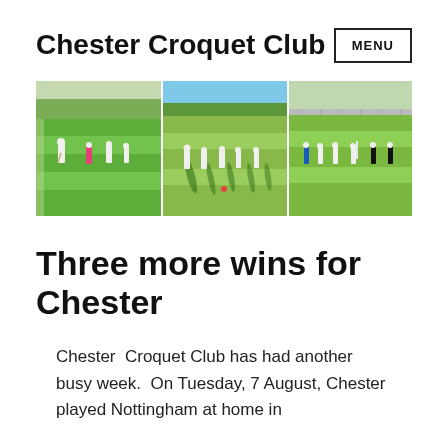Chester Croquet Club
[Figure (photo): Three side-by-side photographs of croquet players on green lawns: left panel shows players in white on a bright green field with trees and hedges in the background; middle panel shows players with strong shadows on a sunny day; right panel shows players on a well-manicured grass court with fence in the background.]
Three more wins for Chester
Chester Croquet Club has had another busy week.  On Tuesday, 7 August, Chester played Nottingham at home in